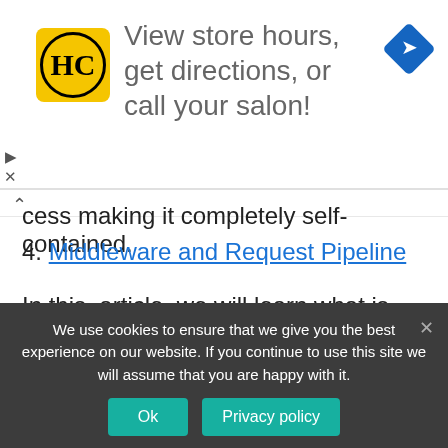[Figure (screenshot): Advertisement banner with HC logo (yellow square with HC letters), text 'View store hours, get directions, or call your salon!', and a blue navigation diamond icon on the right. Close/dismiss controls on the left side.]
cess making it completely self-contained.
4. Middleware and Request Pipeline
In this, article, we will learn what is Middleware is and how the Request Pipeline works in ASP.NET Core application. Request PipeLine The Request Pipeline is the
We use cookies to ensure that we give you the best experience on our website. If you continue to use this site we will assume that you are happy with it.